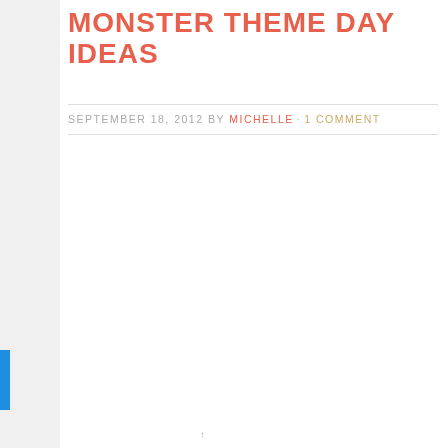MONSTER THEME DAY IDEAS
SEPTEMBER 18, 2012 BY MICHELLE · 1 COMMENT
[Figure (illustration): Newsletter subscribe sidebar widget with vertical text reading 'subscribe to our NEWSLETTER' in script and bold uppercase lettering]
[Figure (photo): Main content image area (blank/white placeholder)]